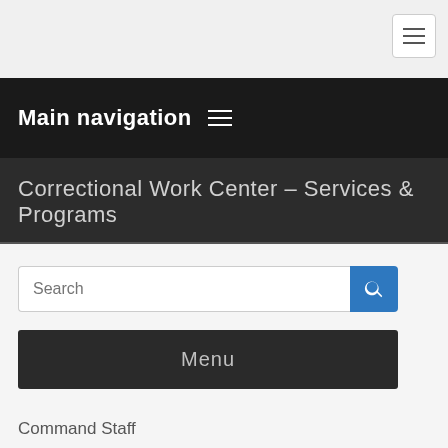Main navigation
Correctional Work Center – Services & Programs
Search
Menu
Command Staff
Meet Officer Bella, Correctional K9
Commissary Deposit